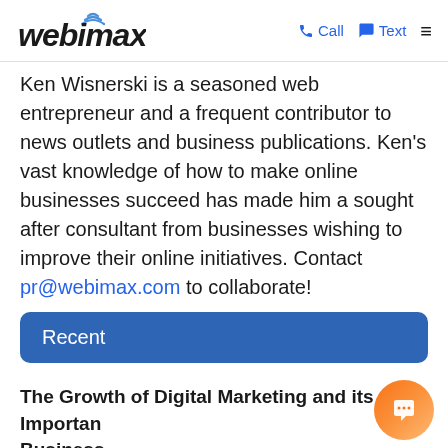webimax | Call | Text | Menu
Ken Wisnerski is a seasoned web entrepreneur and a frequent contributor to news outlets and business publications. Ken's vast knowledge of how to make online businesses succeed has made him a sought after consultant from businesses wishing to improve their online initiatives. Contact pr@webimax.com to collaborate!
Recent
The Growth of Digital Marketing and its Importance to Business